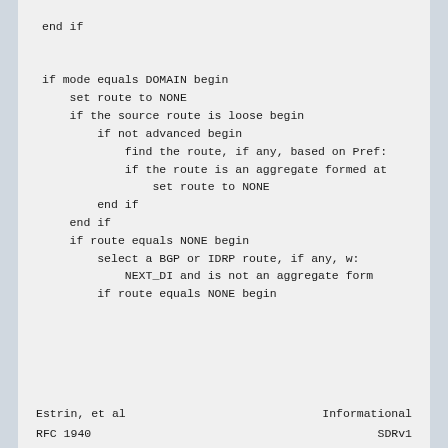end if

if mode equals DOMAIN begin
    set route to NONE
    if the source route is loose begin
        if not advanced begin
            find the route, if any, based on Pref:
            if the route is an aggregate formed at
                set route to NONE
        end if
    end if
    if route equals NONE begin
        select a BGP or IDRP route, if any, w:
            NEXT_DI and is not an aggregate form
        if route equals NONE begin
Estrin, et al                    Informational

RFC 1940                                          SDRv1